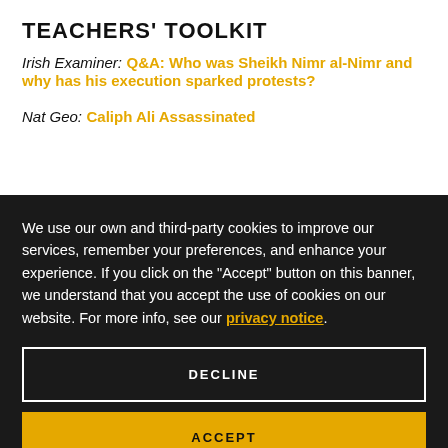TEACHERS' TOOLKIT
Irish Examiner: Q&A: Who was Sheikh Nimr al-Nimr and why has his execution sparked protests?
Nat Geo: Caliph Ali Assassinated
We use our own and third-party cookies to improve our services, remember your preferences, and enhance your experience. If you click on the "Accept" button on this banner, we understand that you accept the use of cookies on our website. For more info, see our privacy notice.
DECLINE
ACCEPT